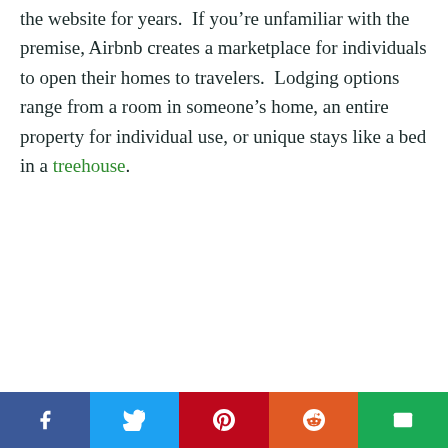the website for years.  If you're unfamiliar with the premise, Airbnb creates a marketplace for individuals to open their homes to travelers.  Lodging options range from a room in someone's home, an entire property for individual use, or unique stays like a bed in a treehouse.
Social share bar: Facebook, Twitter, Pinterest, Reddit, Email